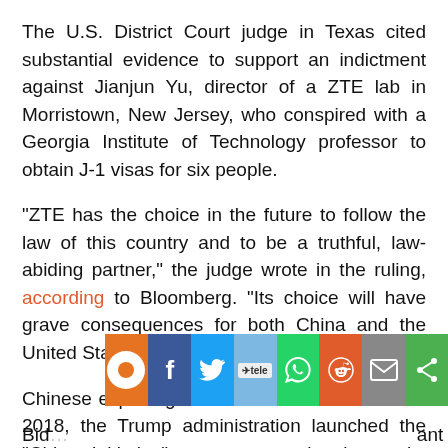The U.S. District Court judge in Texas cited substantial evidence to support an indictment against Jianjun Yu, director of a ZTE lab in Morristown, New Jersey, who conspired with a Georgia Institute of Technology professor to obtain J-1 visas for six people.
“ZTE has the choice in the future to follow the law of this country and to be a truthful, law-abiding partner,” the judge wrote in the ruling, according to Bloomberg. “Its choice will have grave consequences for both China and the United States of America”.
Chinese espionage is of concern to the U.S. In 2018, the Trump administration launched the “China Initiative” to protect national security against Chinese espionage and theft in intellectual property in U.S. academia.
[Figure (screenshot): Social media share bar with icons: location pin (orange), Facebook (blue), Twitter (blue), Telegram, WhatsApp (green), Reddit (orange-red), email (gray), share (green)]
Bid... ...ant